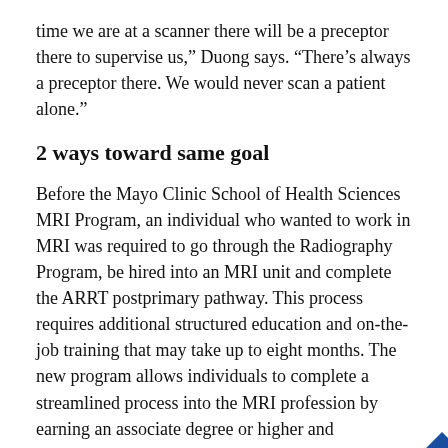time we are at a scanner there will be a preceptor there to supervise us," Duong says. "There's always a preceptor there. We would never scan a patient alone."
2 ways toward same goal
Before the Mayo Clinic School of Health Sciences MRI Program, an individual who wanted to work in MRI was required to go through the Radiography Program, be hired into an MRI unit and complete the ARRT postprimary pathway. This process requires additional structured education and on-the-job training that may take up to eight months. The new program allows individuals to complete a streamlined process into the MRI profession by earning an associate degree or higher and completing an ARRT-approved educational program.
Whichever pathway is completed, graduates must still pass the ARRT MRI certification exam.